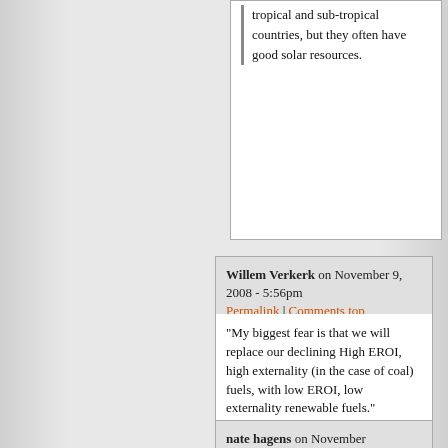tropical and sub-tropical countries, but they often have good solar resources.
Willem Verkerk on November 9, 2008 - 5:56pm Permalink | Comments top
"My biggest fear is that we will replace our declining High EROI, high externality (in the case of coal) fuels, with low EROI, low externality renewable fuels."

So you would prefer coal for example over renewable fuels. Good to know.
nate hagens on November